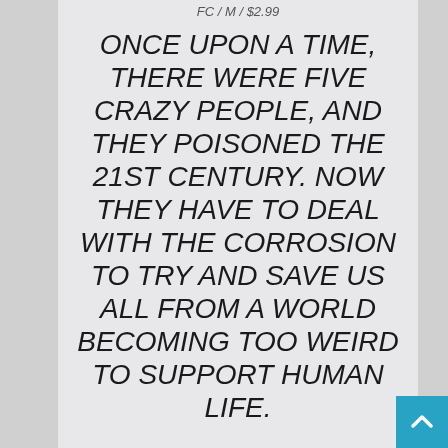FC / M / $2.99
ONCE UPON A TIME, THERE WERE FIVE CRAZY PEOPLE, AND THEY POISONED THE 21ST CENTURY. NOW THEY HAVE TO DEAL WITH THE CORROSION TO TRY AND SAVE US ALL FROM A WORLD BECOMING TOO WEIRD TO SUPPORT HUMAN LIFE.